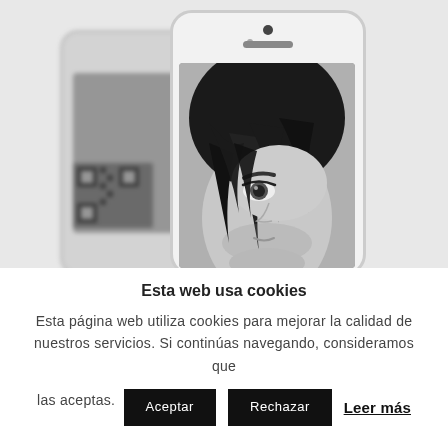[Figure (photo): Two white smartphones displayed side by side on a light background. The background (left) phone shows a QR code on its screen, shown blurred. The foreground (right) phone displays a close-up black and white photo of a young man's face with dark, tousled hair partially covering one eye.]
Esta web usa cookies
Esta página web utiliza cookies para mejorar la calidad de nuestros servicios. Si continúas navegando, consideramos que las aceptas.
Aceptar  Rechazar  Leer más